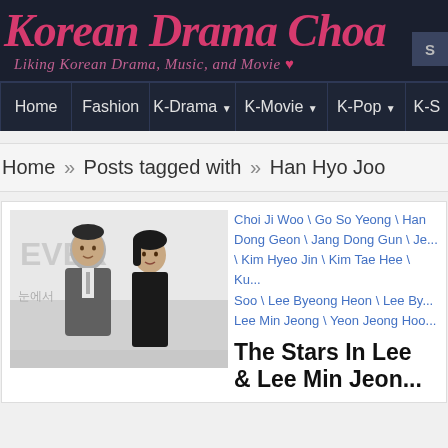Korean Drama Choa
Liking Korean Drama, Music, and Movie ♥
Home | Fashion | K-Drama ▼ | K-Movie ▼ | K-Pop ▼ | K-S...
Home » Posts tagged with » Han Hyo Joo
[Figure (photo): A man in a suit and a woman in a black dress standing together at what appears to be a movie premiere or event, with text 'EVER' visible in the background.]
Choi Ji Woo \ Go So Yeong \ Han... Dong Geon \ Jang Dong Gun \ Je... \ Kim Hyeo Jin \ Kim Tae Hee \ Ku... Soo \ Lee Byeong Heon \ Lee By... Lee Min Jeong \ Yeon Jeong Hoo...
The Stars In Le... & Lee Min Jeon...